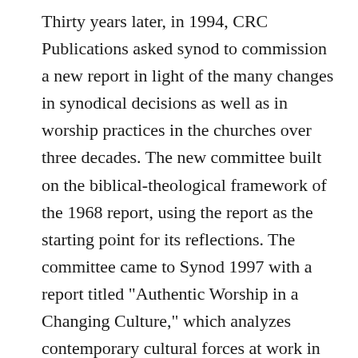Thirty years later, in 1994, CRC Publications asked synod to commission a new report in light of the many changes in synodical decisions as well as in worship practices in the churches over three decades. The new committee built on the biblical-theological framework of the 1968 report, using the report as the starting point for its reflections. The committee came to Synod 1997 with a report titled "Authentic Worship in a Changing Culture," which analyzes contemporary cultural forces at work in the church and reflects theologically on those changes with a view to helping church leaders make decisions about worship that are biblically and theologically informed and culturally discerning. In 2011 the denomination's publishing agency, Faith Alive Christian Resources, presented a proposal for a standing CRC Worship Committee on grounds that the CRC needs to provide